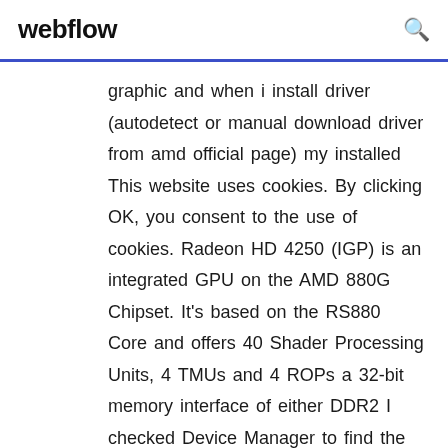webflow
graphic and when i install driver (autodetect or manual download driver from amd official page) my installed This website uses cookies. By clicking OK, you consent to the use of cookies. Radeon HD 4250 (IGP) is an integrated GPU on the AMD 880G Chipset. It's based on the RS880 Core and offers 40 Shader Processing Units, 4 TMUs and 4 ROPs a 32-bit memory interface of either DDR2 I checked Device Manager to find the display adapter - both say the ATI Mobility Radeon HD 4250. However, my PROPERTIES says "this device is working correctly" and hers says "no drivers are installed for this device." I tried to update the driver inside Device Manager, and it says " The